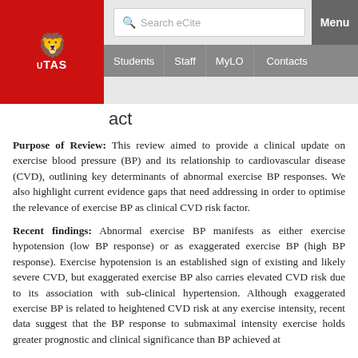UTAS — Students | Staff | MyLO | Contacts — Search eCite — Menu
act
Purpose of Review: This review aimed to provide a clinical update on exercise blood pressure (BP) and its relationship to cardiovascular disease (CVD), outlining key determinants of abnormal exercise BP responses. We also highlight current evidence gaps that need addressing in order to optimise the relevance of exercise BP as clinical CVD risk factor.
Recent findings: Abnormal exercise BP manifests as either exercise hypotension (low BP response) or as exaggerated exercise BP (high BP response). Exercise hypotension is an established sign of existing and likely severe CVD, but exaggerated exercise BP also carries elevated CVD risk due to its association with sub-clinical hypertension. Although exaggerated exercise BP is related to heightened CVD risk at any exercise intensity, recent data suggest that the BP response to submaximal intensity exercise holds greater prognostic and clinical significance than BP achieved at